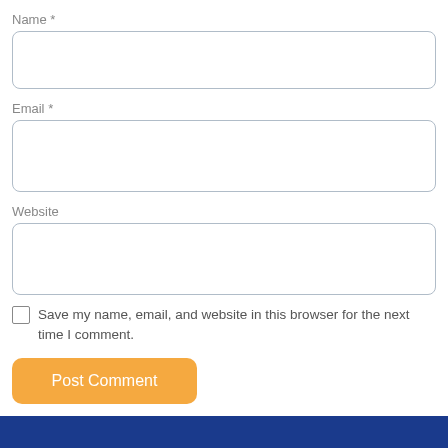Name *
[Figure (screenshot): Empty text input field for Name, with rounded border]
Email *
[Figure (screenshot): Empty text input field for Email, with rounded border]
Website
[Figure (screenshot): Empty text input field for Website, with rounded border]
Save my name, email, and website in this browser for the next time I comment.
Post Comment